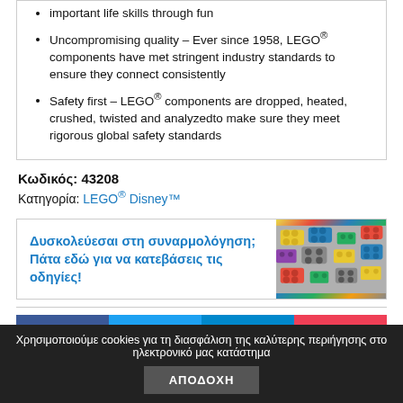important life skills through fun
Uncompromising quality – Ever since 1958, LEGO® components have met stringent industry standards to ensure they connect consistently
Safety first – LEGO® components are dropped, heated, crushed, twisted and analyzedto make sure they meet rigorous global safety standards
Κωδικός: 43208
Κατηγορία: LEGO® Disney™
[Figure (infographic): Banner with Greek text 'Δυσκολεύεσαι στη συναρμολόγηση; Πάτα εδώ για να κατεβάσεις τις οδηγίες!' on blue background with LEGO bricks photo on right]
Facebook  Twitter  Telegram  Pocket
Χρησιμοποιούμε cookies για τη διασφάλιση της καλύτερης περιήγησης στο ηλεκτρονικό μας κατάστημα